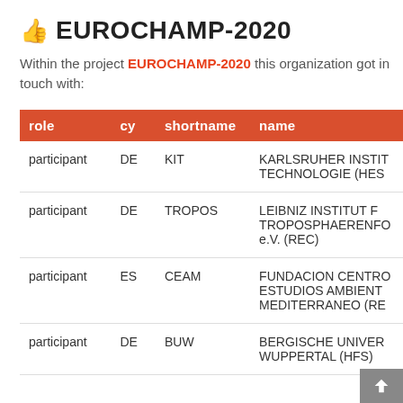EUROCHAMP-2020
Within the project EUROCHAMP-2020 this organization got in touch with:
| role | cy | shortname | name |
| --- | --- | --- | --- |
| participant | DE | KIT | KARLSRUHER INSTIT TECHNOLOGIE (HES |
| participant | DE | TROPOS | LEIBNIZ INSTITUT F TROPOSPHAERENFO e.V. (REC) |
| participant | ES | CEAM | FUNDACION CENTRO ESTUDIOS AMBIENT MEDITERRANEO (RE |
| participant | DE | BUW | BERGISCHE UNIVER WUPPERTAL (HFS) |